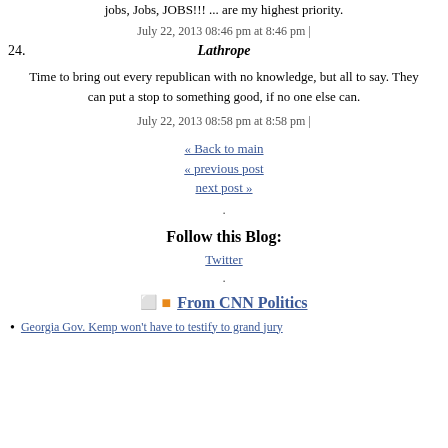jobs, Jobs, JOBS!!! ... are my highest priority.
July 22, 2013 08:46 pm at 8:46 pm |
24.
Lathrope
Time to bring out every republican with no knowledge, but all to say. They can put a stop to something good, if no one else can.
July 22, 2013 08:58 pm at 8:58 pm |
« Back to main
« previous post
next post »
.
Follow this Blog:
Twitter
.
From CNN Politics
Georgia Gov. Kemp won't have to testify to grand jury